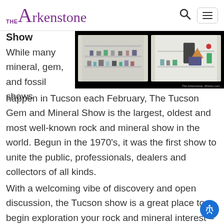The Arkenstone
Show
[Figure (photo): Two display cases with minerals and gems on white pedestals against a black background, with The Arkenstone, iRocks.com watermark]
While many mineral, gem, and fossil shows happen in Tucson each February, The Tucson Gem and Mineral Show is the largest, oldest and most well-known rock and mineral show in the world. Begun in the 1970's, it was the first show to unite the public, professionals, dealers and collectors of all kinds.
With a welcoming vibe of discovery and open discussion, the Tucson show is a great place to begin exploration your rock and mineral interest – or connect with other